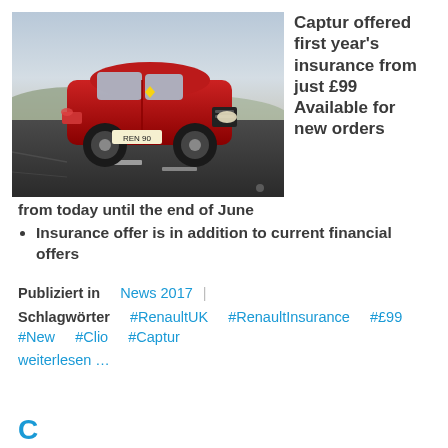[Figure (photo): Red Renault Clio driving on a road with scenic background, licence plate REN 90]
Captur offered first year's insurance from just £99 Available for new orders
from today until the end of June
Insurance offer is in addition to current financial offers
Publiziert in News 2017
Schlagwörter #RenaultUK #RenaultInsurance #£99 #New #Clio #Captur
weiterlesen …